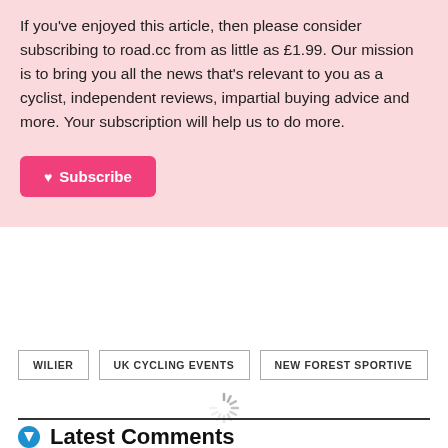If you've enjoyed this article, then please consider subscribing to road.cc from as little as £1.99. Our mission is to bring you all the news that's relevant to you as a cyclist, independent reviews, impartial buying advice and more. Your subscription will help us to do more.
♥ Subscribe
WILIER
UK CYCLING EVENTS
NEW FOREST SPORTIVE
Latest Comments